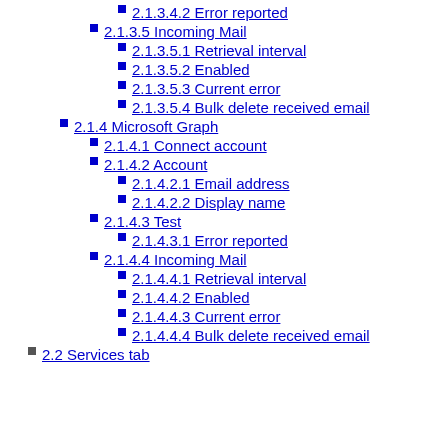2.1.3.4.2 Error reported
2.1.3.5 Incoming Mail
2.1.3.5.1 Retrieval interval
2.1.3.5.2 Enabled
2.1.3.5.3 Current error
2.1.3.5.4 Bulk delete received email
2.1.4 Microsoft Graph
2.1.4.1 Connect account
2.1.4.2 Account
2.1.4.2.1 Email address
2.1.4.2.2 Display name
2.1.4.3 Test
2.1.4.3.1 Error reported
2.1.4.4 Incoming Mail
2.1.4.4.1 Retrieval interval
2.1.4.4.2 Enabled
2.1.4.4.3 Current error
2.1.4.4.4 Bulk delete received email
2.2 Services tab